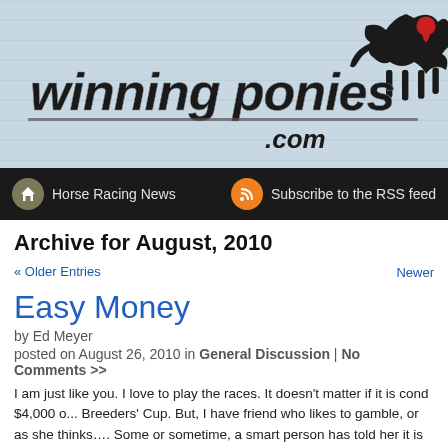[Figure (logo): WinningPonies.com logo with horse racing silhouette on light blue striped background]
Horse Racing News | Subscribe to the RSS feed
Archive for August, 2010
« Older Entries
Newer
Easy Money
by Ed Meyer
posted on August 26, 2010 in General Discussion | No Comments >>
I am just like you. I love to play the races. It doesn't matter if it is cond $4,000 o... Breeders' Cup. But, I have friend who likes to gamble, or as she thinks…. Some or sometime, a smart person has told her it is like a giant A.T.M. If you are need... [...]
Filed under Bad losers, gambling loses, Horse Racing, horse racing betting, horse racing wagering, new gamblers